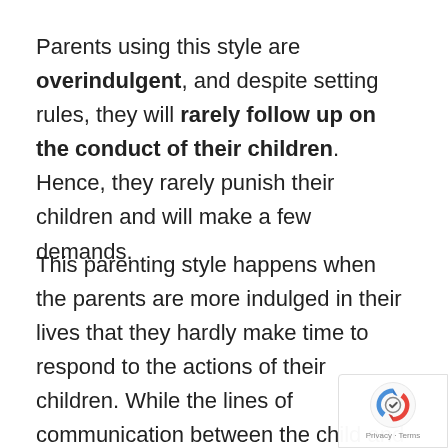Parents using this style are overindulgent, and despite setting rules, they will rarely follow up on the conduct of their children. Hence, they rarely punish their children and will make a few demands.
This parenting style happens when the parents are more indulged in their lives that they hardly make time to respond to the actions of their children. While the lines of communication between the child and